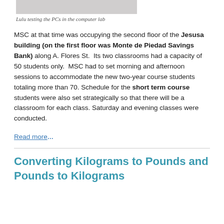[Figure (photo): Partial photo of a person testing PCs in a computer lab (top portion cropped)]
Lulu testing the PCs in the computer lab
MSC at that time was occupying the second floor of the Jesusa building (on the first floor was Monte de Piedad Savings Bank) along A. Flores St.  Its two classrooms had a capacity of  50 students only.  MSC had to set morning and afternoon sessions to accommodate the new two-year course students totaling more than 70.  Schedule for the short term course students were also set strategically so that there will be a classroom for each class.  Saturday and evening classes were conducted.
Read more...
Converting Kilograms to Pounds and Pounds to Kilograms